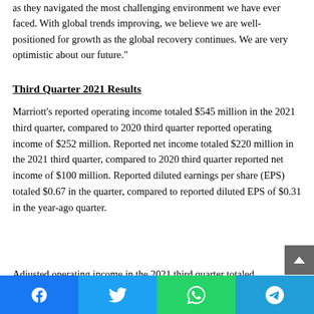as they navigated the most challenging environment we have ever faced. With global trends improving, we believe we are well-positioned for growth as the global recovery continues. We are very optimistic about our future."
Third Quarter 2021 Results
Marriott's reported operating income totaled $545 million in the 2021 third quarter, compared to 2020 third quarter reported operating income of $252 million. Reported net income totaled $220 million in the 2021 third quarter, compared to 2020 third quarter reported net income of $100 million. Reported diluted earnings per share (EPS) totaled $0.67 in the quarter, compared to reported diluted EPS of $0.31 in the year-ago quarter.
Adjusted operating income in the 2021 third quarter totaled